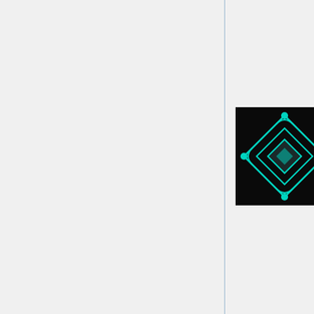[Figure (illustration): Game icon showing a teal/cyan geometric diamond shape with connected nodes on a black background]
| Property | Value |
| --- | --- |
| Travel Speed | - |
| Use Speed | - |
| Description | When you assume the form of an other body you gain more control over the body
• at level 1 you gain one more talent slot
• at level 2 you gain one more talent slot
• at level 3 you gain resistance |